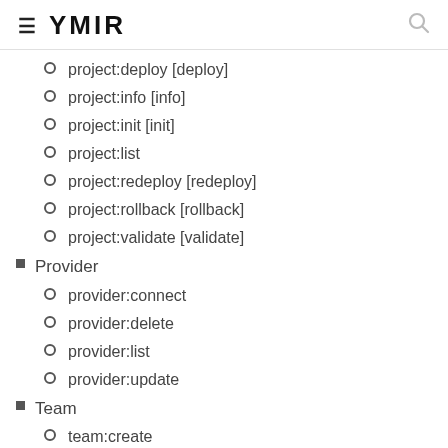≡ YMIR 🔍
project:deploy [deploy]
project:info [info]
project:init [init]
project:list
project:redeploy [redeploy]
project:rollback [rollback]
project:validate [validate]
Provider
provider:connect
provider:delete
provider:list
provider:update
Team
team:create
team:current